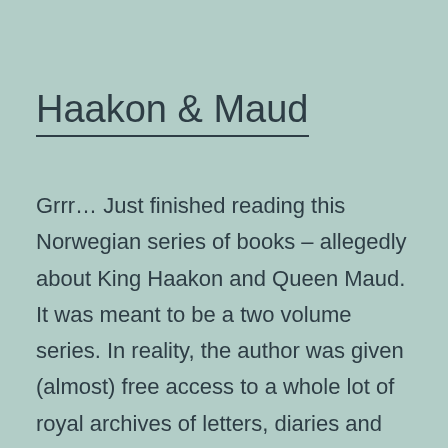Haakon & Maud
Grrr… Just finished reading this Norwegian series of books – allegedly about King Haakon and Queen Maud. It was meant to be a two volume series. In reality, the author was given (almost) free access to a whole lot of royal archives of letters, diaries and other documents (in Norway, Denmark, Sweden, Russia and the… Continue reading